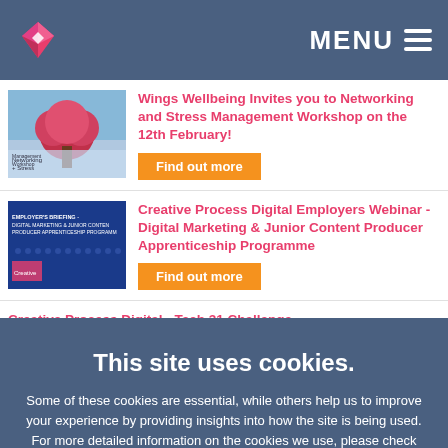MENU
[Figure (screenshot): Website listing with thumbnail images and event cards]
Wings Wellbeing Invites you to Networking and Stress Management Workshop on the 12th February!
Find out more
Creative Process Digital Employers Webinar - Digital Marketing & Junior Content Producer Apprenticeship Programme
Find out more
Creative Process Digital - Tech 31 Challenge
This site uses cookies.
Some of these cookies are essential, while others help us to improve your experience by providing insights into how the site is being used. For more detailed information on the cookies we use, please check our Privacy Policy
Select preferences
Accept all